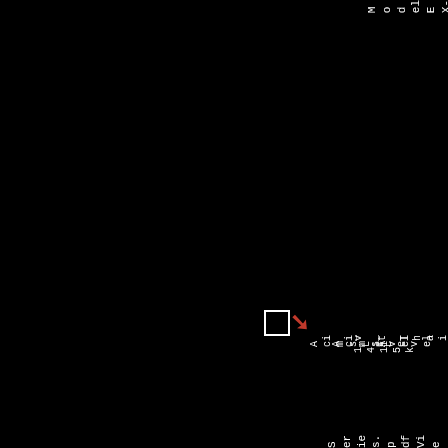Series.pdf ViewDownload
Model EX-F1 Series
[Figure (other): Checkbox icon (empty square) and red arrow/logo icon]
Acims_Level
Acims_Level
1 v 4.11 5k
AL
Thaimet e